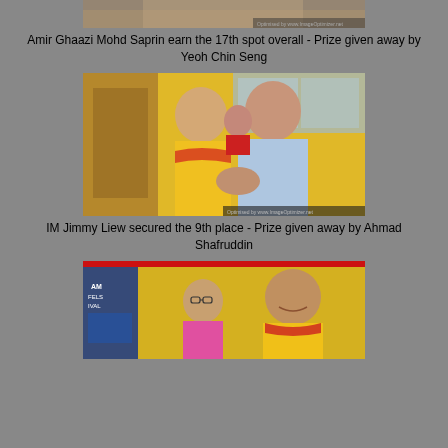[Figure (photo): Partial photo at top showing a prize giving ceremony, cropped — Amir Ghaazi Mohd Saprin receiving prize from Yeoh Chin Seng]
Amir Ghaazi Mohd Saprin earn the 17th spot overall - Prize given away by Yeoh Chin Seng
[Figure (photo): IM Jimmy Liew in yellow shirt shaking hands with Ahmad Shafruddin in a yellow room at a prize giving ceremony]
IM Jimmy Liew secured the 9th place - Prize given away by Ahmad Shafruddin
[Figure (photo): Young boy with glasses in pink shirt with older man in yellow shirt smiling at bottom of page, partially visible]